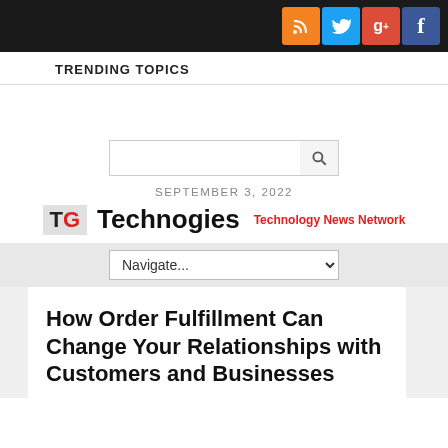Social icons: RSS, Twitter, G+, Facebook
TRENDING TOPICS
[Figure (other): Search input box with search button icon]
SEPTEMBER 3, 2022
[Figure (logo): TG Technogies Technology News Network logo]
Navigate...
How Order Fulfillment Can Change Your Relationships with Customers and Businesses